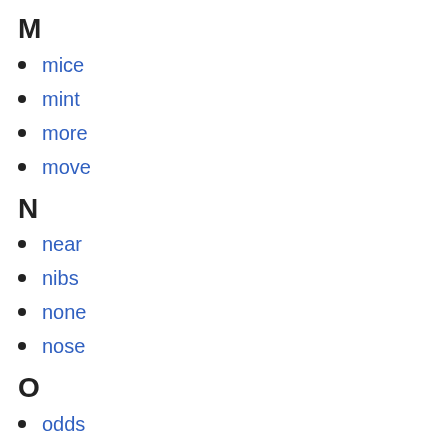M
mice
mint
more
move
N
near
nibs
none
nose
O
odds
oils